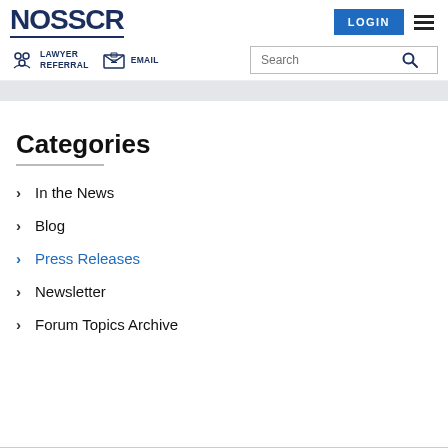NOSSCR
[Figure (logo): NOSSCR logo text in dark navy blue with underline]
Categories
In the News
Blog
Press Releases
Newsletter
Forum Topics Archive